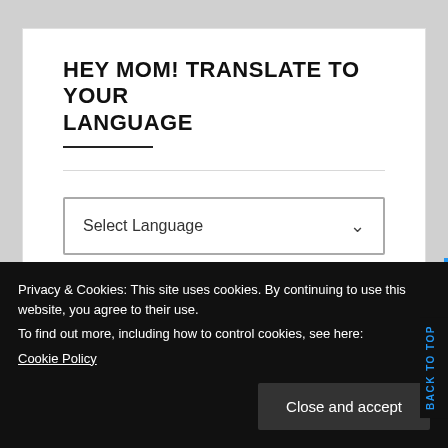HEY MOM! TRANSLATE TO YOUR LANGUAGE
[Figure (other): Select Language dropdown widget with chevron arrow]
Powered by Google Translate
Privacy & Cookies: This site uses cookies. By continuing to use this website, you agree to their use. To find out more, including how to control cookies, see here: Cookie Policy
Close and accept